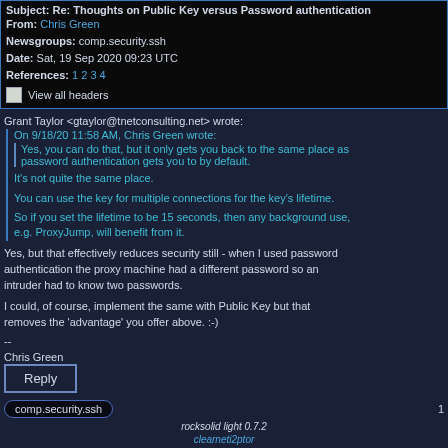Subject: Re: Thoughts on Public Key versus Password authentication
From: Chris Green
Newsgroups: comp.security.ssh
Date: Sat, 19 Sep 2020 09:23 UTC
References: 1 2 3 4
View all headers
Grant Taylor <gtaylor@tnetconsulting.net> wrote:
On 9/18/20 11:58 AM, Chris Green wrote:
> Yes, you can do that, but it only gets you back to the same place as password authentication gets you to by default.

It's not quite the same place.

You can use the key for multiple connections for the key's lifetime.

So if you set the lifetime to be 15 seconds, then any background use, e.g. ProxyJump, will benefit from it.
Yes, but that effectively reduces security still - when I used password authentication the proxy machine had a different password so an intruder had to know two passwords.

I could, of course, implement the same with Public Key but that removes the 'advantage' you offer above. :-)
--
Chris Green
·
Reply
comp.security.ssh
rocksolid light 0.7.2
clearneti2ptor